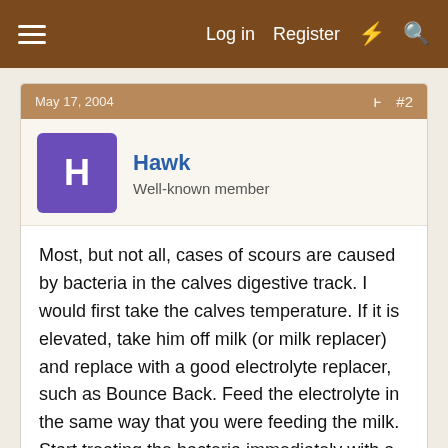Log in  Register
May 17, 2004  #2
Hawk
Well-known member
Most, but not all, cases of scours are caused by bacteria in the calves digestive track. I would first take the calves temperature. If it is elevated, take him off milk (or milk replacer) and replace with a good electrolyte replacer, such as Bounce Back. Feed the electrolyte in the same way that you were feeding the milk. Start treating the bacteria immediately with a good antibiotic. There are several good over the counter choices or your vet can give you a prescription drug. Either way, treat the infection aggressively. These little babies can get real sick, real fast, and die with in a few days. Once the scours is under control,